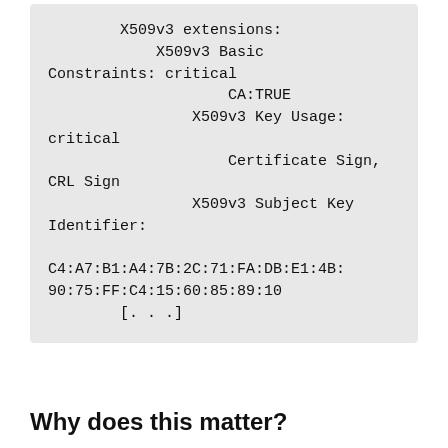X509v3 extensions:
            X509v3 Basic Constraints: critical
                    CA:TRUE
                X509v3 Key Usage: critical
                    Certificate Sign, CRL Sign
                X509v3 Subject Key Identifier:

C4:A7:B1:A4:7B:2C:71:FA:DB:E1:4B:
90:75:FF:C4:15:60:85:89:10
        [. . .]
Why does this matter?